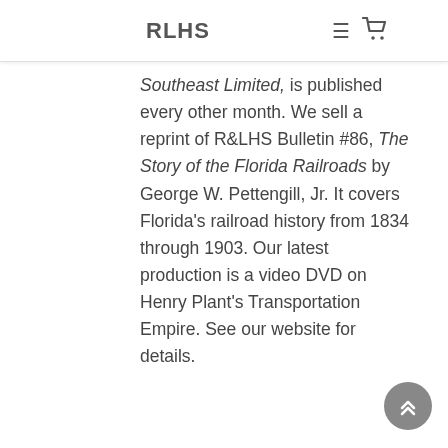RLHS
Southeast Limited, is published every other month. We sell a reprint of R&LHS Bulletin #86, The Story of the Florida Railroads by George W. Pettengill, Jr. It covers Florida's railroad history from 1834 through 1903. Our latest production is a video DVD on Henry Plant's Transportation Empire. See our website for details.